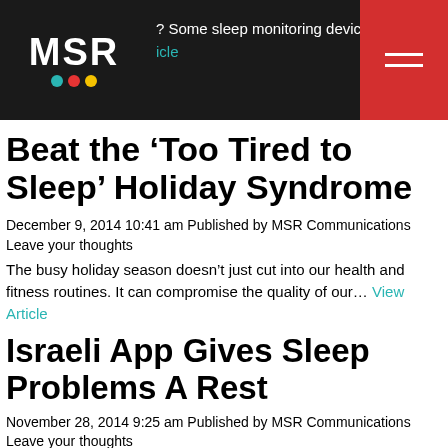? Some sleep monitoring devices can even co… View Article
Beat the ‘Too Tired to Sleep’ Holiday Syndrome
December 9, 2014 10:41 am Published by MSR Communications Leave your thoughts
The busy holiday season doesn’t just cut into our health and fitness routines. It can compromise the quality of our… View Article
Israeli App Gives Sleep Problems A Rest
November 28, 2014 9:25 am Published by MSR Communications Leave your thoughts
In a 24/7 world, sleep is increasingly becoming a luxury, to the